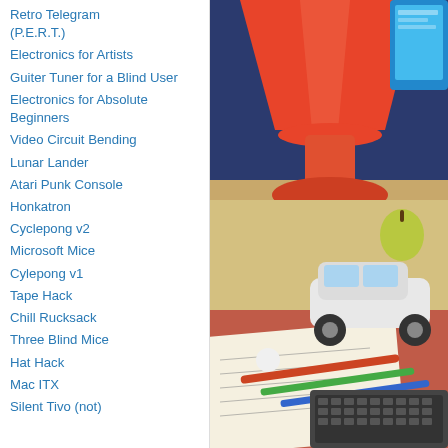Retro Telegram (P.E.R.T.)
Electronics for Artists
Guiter Tuner for a Blind User
Electronics for Absolute Beginners
Video Circuit Bending
Lunar Lander
Atari Punk Console
Honkatron
Cyclepong v2
Microsoft Mice
Cylepong v1
Tape Hack
Chill Rucksack
Three Blind Mice
Hat Hack
Mac ITX
Silent Tivo (not)
[Figure (photo): Retro desk scene with a red mushroom lamp, an apple, a white toy car, pens, a handwritten notepad, and a vintage keyboard/computer, with a monitor visible in the background.]